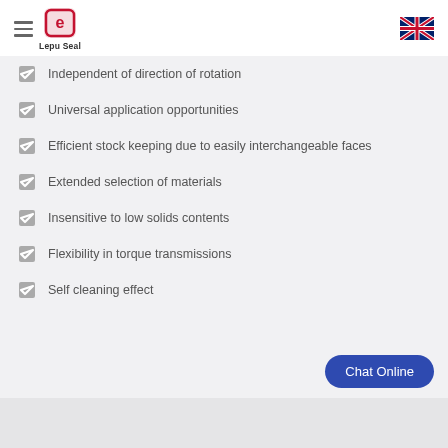Lepu Seal
Independent of direction of rotation
Universal application opportunities
Efficient stock keeping due to easily interchangeable faces
Extended selection of materials
Insensitive to low solids contents
Flexibility in torque transmissions
Self cleaning effect